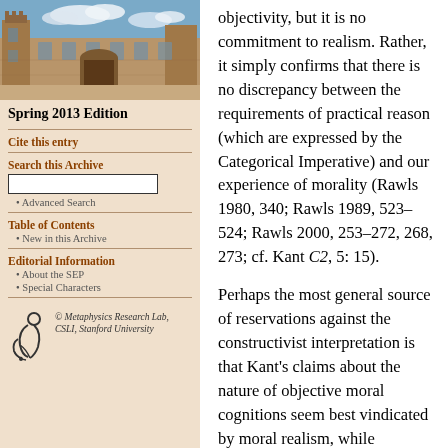[Figure (photo): Photograph of a historic stone university building (likely Stanford or Oxford) with a courtyard and blue sky with white clouds]
Spring 2013 Edition
Cite this entry
Search this Archive
Advanced Search
Table of Contents
New in this Archive
Editorial Information
About the SEP
Special Characters
[Figure (logo): Metaphysics Research Lab logo — stylized figure/symbol]
© Metaphysics Research Lab, CSLI, Stanford University
objectivity, but it is no commitment to realism. Rather, it simply confirms that there is no discrepancy between the requirements of practical reason (which are expressed by the Categorical Imperative) and our experience of morality (Rawls 1980, 340; Rawls 1989, 523–524; Rawls 2000, 253–272, 268, 273; cf. Kant C2, 5: 15).
Perhaps the most general source of reservations against the constructivist interpretation is that Kant's claims about the nature of objective moral cognitions seem best vindicated by moral realism, while constructivism is sometimes